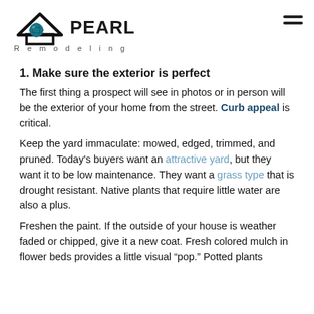Pearl Remodeling
1. Make sure the exterior is perfect
The first thing a prospect will see in photos or in person will be the exterior of your home from the street. Curb appeal is critical.
Keep the yard immaculate: mowed, edged, trimmed, and pruned. Today's buyers want an attractive yard, but they want it to be low maintenance. They want a grass type that is drought resistant. Native plants that require little water are also a plus.
Freshen the paint. If the outside of your house is weather faded or chipped, give it a new coat. Fresh colored mulch in flower beds provides a little visual “pop.” Potted plants